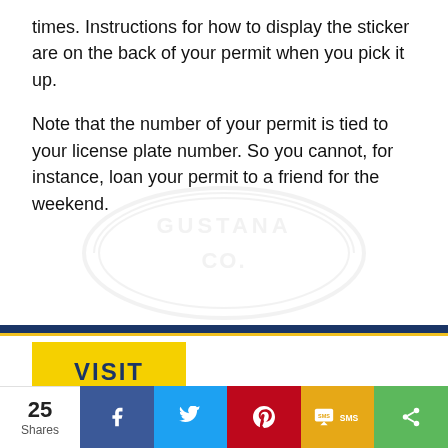times. Instructions for how to display the sticker are on the back of your permit when you pick it up.
Note that the number of your permit is tied to your license plate number. So you cannot, for instance, loan your permit to a friend for the weekend.
[Figure (logo): Faint watermark of a government or municipal seal/logo in the background]
[Figure (other): Yellow VISIT button element]
[Figure (other): Share bar with count 25 Shares, Facebook, Twitter, Pinterest, SMS, and generic share icons]